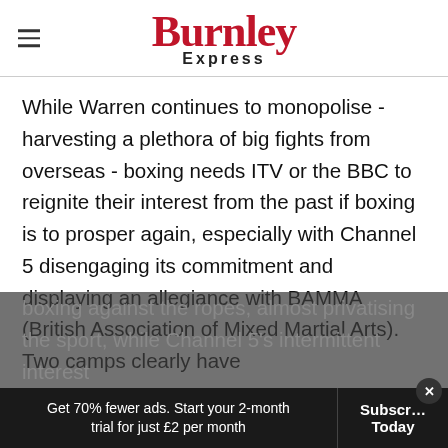Burnley Express
While Warren continues to monopolise - harvesting a plethora of big fights from overseas - boxing needs ITV or the BBC to reignite their interest from the past if boxing is to prosper again, especially with Channel 5 disengaging its commitment and displaying an allegiance with BAMMA (British Association of Mixed Martial Arts). Two camps clearly have boxing against the ropes, almost privatising the sport, while Channel 5's intermittent interest
Get 70% fewer ads. Start your 2-month trial for just £2 per month  Subscribe Today